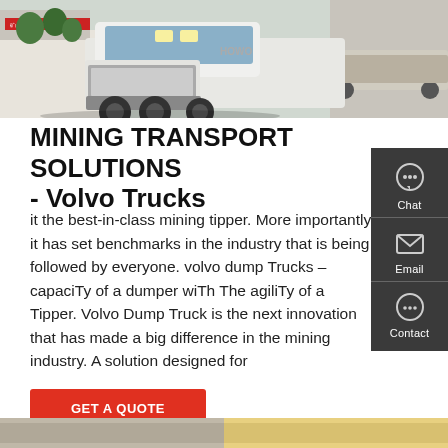[Figure (photo): White heavy-duty mining truck/tractor unit parked in a yard, with other trucks and a building with red signage visible in the background. Grey concrete surface.]
MINING TRANSPORT SOLUTIONS - Volvo Trucks
it the best-in-class mining tipper. More importantly, it has set benchmarks in the industry that is being followed by everyone. volvo dump Trucks – capaciTy of a dumper wiTh The agiliTy of a Tipper. Volvo Dump Truck is the next innovation that has made a big difference in the mining industry. A solution designed for
[Figure (infographic): Dark grey sidebar panel with Chat, Email, and Contact icons and labels for customer contact options]
GET A QUOTE
[Figure (photo): Partial view of another truck or vehicle image at the bottom of the page, cropped]